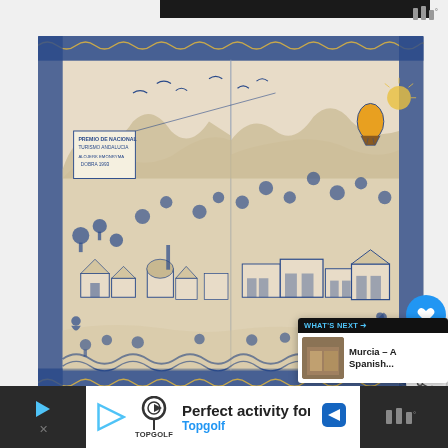[Figure (photo): Screenshot of a web page showing a ceramic tile artwork depicting an Andalusian landscape with buildings, trees, hills and decorative blue border. The tile appears to be an award-winning piece (Premio de Nacional de Turismo Andalucia). UI overlay shows heart/like button (1 like), share button, and a 'What's Next' card showing 'Murcia - A Spanish...']
[Figure (infographic): Advertisement banner at the bottom: 'Perfect activity for everyone' by Topgolf with Topgolf logo and navigation arrow icon. Dark areas flank the white ad content on left and right.]